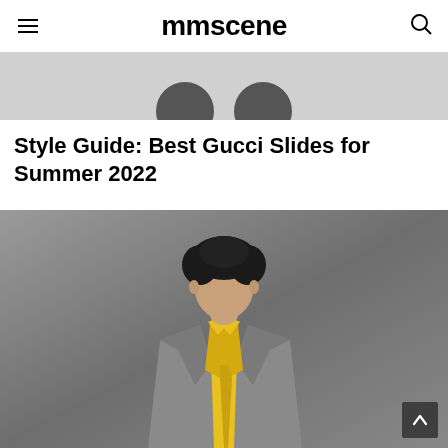mmscene
[Figure (photo): Partial product image showing two dark rounded objects on a light grey background — top portion of a Gucci slides product photo]
Style Guide: Best Gucci Slides for Summer 2022
[Figure (photo): Fashion editorial photograph of a young male model with curly dark hair, wearing a grey suit jacket with a yellow satin shirt and tie, photographed against a grey background]